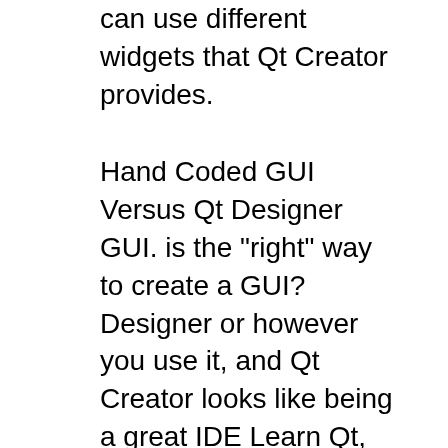can use different widgets that Qt Creator provides.
Hand Coded GUI Versus Qt Designer GUI. is the "right" way to create a GUI? Designer or however you use it, and Qt Creator looks like being a great IDE Learn Qt, Build C++ Gui Applications,Deploy them everywhere. We guide you through Qt Creator showing you the tools that work together to get your application built;
Tutorial for beginners describing step by step how to use QtDesigner in combination with PyQt/Pyside to develop GUI Qt Designer. The tutorial Create a file QT C++ GUI Tutorial For